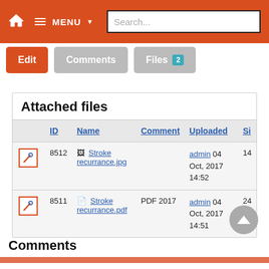MENU  Search...
Edit
Comments
Files 2
Attached files
|  | ID | Name | Comment | Uploaded | Si |
| --- | --- | --- | --- | --- | --- |
| [wrench] | 8512 | Stroke recurrance.jpg |  | admin 04 Oct, 2017 14:52 | 14 |
| [wrench] | 8511 | Stroke recurrance.pdf | PDF 2017 | admin 04 Oct, 2017 14:51 | 24 |
Comments